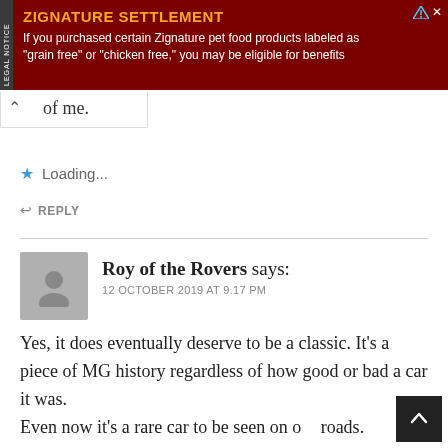[Figure (other): Advertisement banner for Zignature Settlement with dark red background. Title: ZIGNATURE SETTLEMENT. Body: If you purchased certain Zignature pet food products labeled as "grain free" or "chicken free," you may be eligible for benefits]
of me.
Loading...
REPLY
Roy of the Rovers says:
12 OCTOBER 2019 AT 9.17 PM
Yes, it does eventually deserve to be a classic. It's a piece of MG history regardless of how good or bad a car it was.
Even now it's a rare car to be seen on our roads.